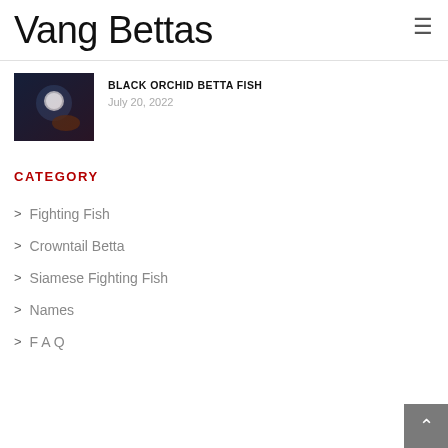Vang Bettas
BLACK ORCHID BETTA FISH
July 20, 2022
CATEGORY
Fighting Fish
Crowntail Betta
Siamese Fighting Fish
Names
FAQ